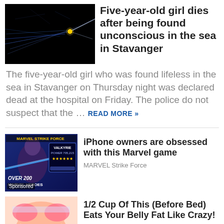[Figure (photo): Dark space-like image with blue light streaks and a yellow dot, used as thumbnail for article about five-year-old girl]
Five-year-old girl dies after being found unconscious in the sea in Stavanger
The five-year-old girl who was found lifeless in the sea in Stavanger on Thursday night was declared dead at the hospital on Friday. The police do not suspect that the … READ MORE »
[Figure (illustration): Advertisement: Marvel Strike Force game featuring Valkyrie character with text OVER 200 MARVEL HEROES]
iPhone owners are obsessed with this Marvel game
MARVEL Strike Force
[Figure (illustration): Advertisement: Cartoon illustration of a belly, promoting belly fat reduction product]
1/2 Cup Of This (Before Bed) Eats Your Belly Fat Like Crazy!
fatburnerclub.com
[Figure (photo): Partially visible thumbnail at bottom of page]